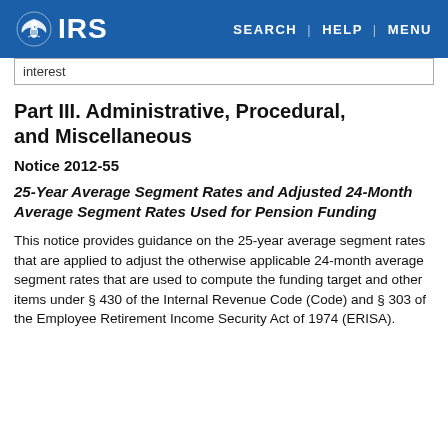IRS | SEARCH | HELP | MENU
interest
Part III. Administrative, Procedural, and Miscellaneous
Notice 2012-55
25-Year Average Segment Rates and Adjusted 24-Month Average Segment Rates Used for Pension Funding
This notice provides guidance on the 25-year average segment rates that are applied to adjust the otherwise applicable 24-month average segment rates that are used to compute the funding target and other items under § 430 of the Internal Revenue Code (Code) and § 303 of the Employee Retirement Income Security Act of 1974 (ERISA).